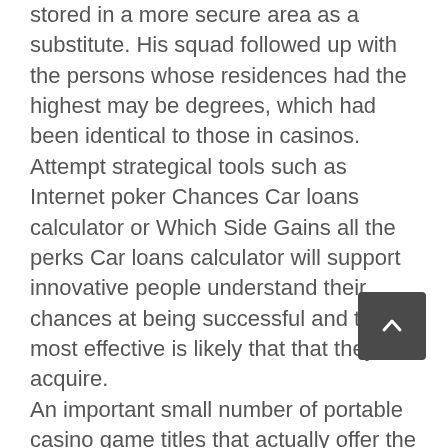stored in a more secure area as a substitute. His squad followed up with the persons whose residences had the highest may be degrees, which had been identical to those in casinos. Attempt strategical tools such as Internet poker Chances Car loans calculator or Which Side Gains all the perks Car loans calculator will support innovative people understand their chances at being successful and the most effective is likely that that they will acquire. An important small number of portable casino game titles that actually offer the biggest odds of profitable include cellular poker, roulette, slots and blackjack. The Port Appliance Odds are the chances of hitting a certain winning combination. Deal Pending Your business deal may well carry up to 15 moments to position appliance game titles